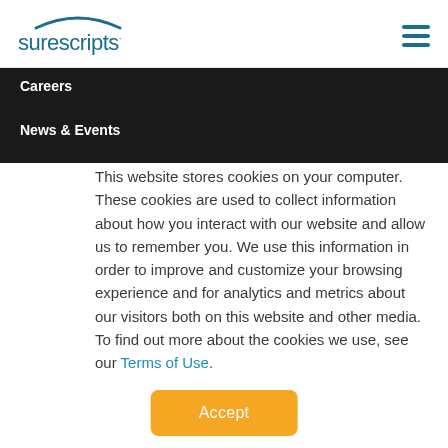[Figure (logo): Surescripts logo with teal arc above text]
Careers
News & Events
This website stores cookies on your computer. These cookies are used to collect information about how you interact with our website and allow us to remember you. We use this information in order to improve and customize your browsing experience and for analytics and metrics about our visitors both on this website and other media. To find out more about the cookies we use, see our Terms of Use.